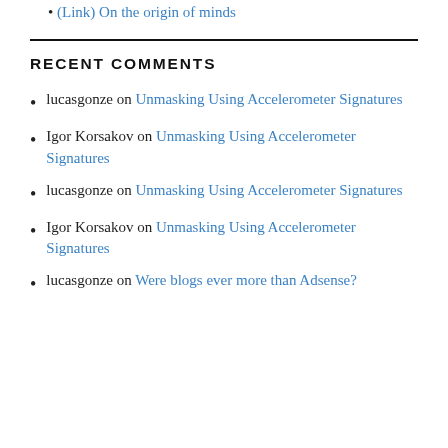(Link) On the origin of minds
RECENT COMMENTS
lucasgonze on Unmasking Using Accelerometer Signatures
Igor Korsakov on Unmasking Using Accelerometer Signatures
lucasgonze on Unmasking Using Accelerometer Signatures
Igor Korsakov on Unmasking Using Accelerometer Signatures
lucasgonze on Were blogs ever more than Adsense?